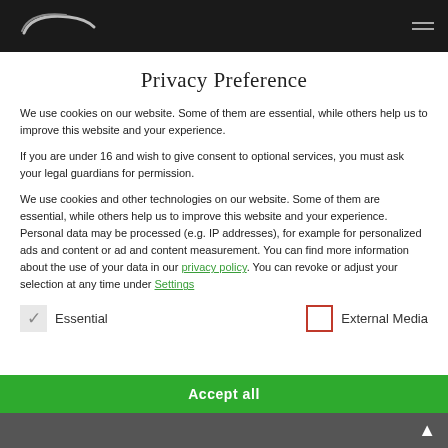[Figure (logo): Dark navigation bar with stylized italic logo on the left and hamburger menu icon on the right]
Privacy Preference
We use cookies on our website. Some of them are essential, while others help us to improve this website and your experience.
If you are under 16 and wish to give consent to optional services, you must ask your legal guardians for permission.
We use cookies and other technologies on our website. Some of them are essential, while others help us to improve this website and your experience. Personal data may be processed (e.g. IP addresses), for example for personalized ads and content or ad and content measurement. You can find more information about the use of your data in our privacy policy. You can revoke or adjust your selection at any time under Settings
Essential (checked)
External Media (unchecked)
Accept all (button, partially visible)